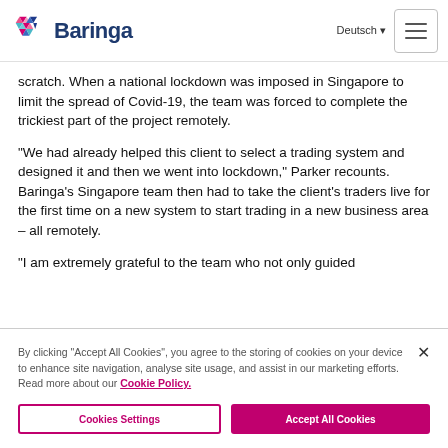Baringa — Deutsch
scratch. When a national lockdown was imposed in Singapore to limit the spread of Covid-19, the team was forced to complete the trickiest part of the project remotely.
“We had already helped this client to select a trading system and designed it and then we went into lockdown,” Parker recounts. Baringa’s Singapore team then had to take the client’s traders live for the first time on a new system to start trading in a new business area – all remotely.
“I am extremely grateful to the team who not only guided
By clicking “Accept All Cookies”, you agree to the storing of cookies on your device to enhance site navigation, analyse site usage, and assist in our marketing efforts. Read more about our Cookie Policy.